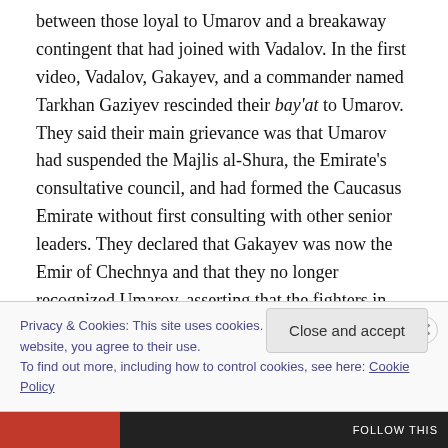between those loyal to Umarov and a breakaway contingent that had joined with Vadalov. In the first video, Vadalov, Gakayev, and a commander named Tarkhan Gaziyev rescinded their bay'at to Umarov. They said their main grievance was that Umarov had suspended the Majlis al-Shura, the Emirate's consultative council, and had formed the Caucasus Emirate without first consulting with other senior leaders. They declared that Gakayev was now the Emir of Chechnya and that they no longer recognized Umarov, asserting that the fighters in Chechnya supported their decision. In a second video, the
Privacy & Cookies: This site uses cookies. By continuing to use this website, you agree to their use.
To find out more, including how to control cookies, see here: Cookie Policy
Close and accept